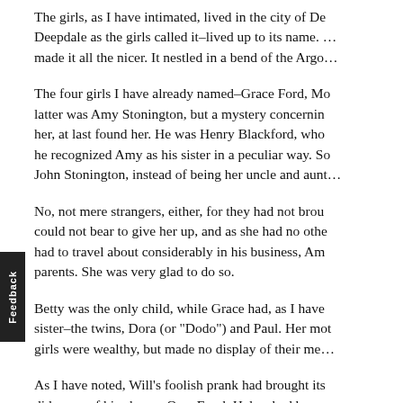The girls, as I have intimated, lived in the city of De… Deepdale as the girls called it–lived up to its name. … made it all the nicer. It nestled in a bend of the Argo…
The four girls I have already named–Grace Ford, Mo… latter was Amy Stonington, but a mystery concernin… her, at last found her. He was Henry Blackford, who … he recognized Amy as his sister in a peculiar way. So… John Stonington, instead of being her uncle and aunt…
No, not mere strangers, either, for they had not brou… could not bear to give her up, and as she had no othe… had to travel about considerably in his business, Am… parents. She was very glad to do so.
Betty was the only child, while Grace had, as I have … sister–the twins, Dora (or "Dodo") and Paul. Her mot… girls were wealthy, but made no display of their me…
As I have noted, Will's foolish prank had brought its… did some of his chums. One, Frank Haley, had been e… But to Will would seem to have come the heavier p…